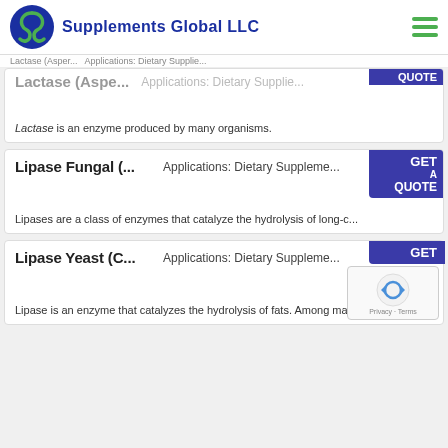Supplements Global LLC
Lactase (Asper... Applications: Dietary Supplie... GET A QUOTE
Lactase is an enzyme produced by many organisms.
Lipase Fungal (... Applications: Dietary Suppleme... GET A QUOTE
Lipases are a class of enzymes that catalyze the hydrolysis of long-c...
Lipase Yeast (C... Applications: Dietary Suppleme... GET
Lipase is an enzyme that catalyzes the hydrolysis of fats. Among man...